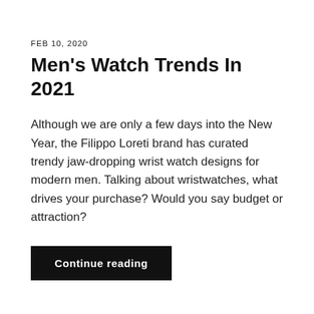FEB 10, 2020
Men's Watch Trends In 2021
Although we are only a few days into the New Year, the Filippo Loreti brand has curated trendy jaw-dropping wrist watch designs for modern men. Talking about wristwatches, what drives your purchase? Would you say budget or attraction?
Continue reading